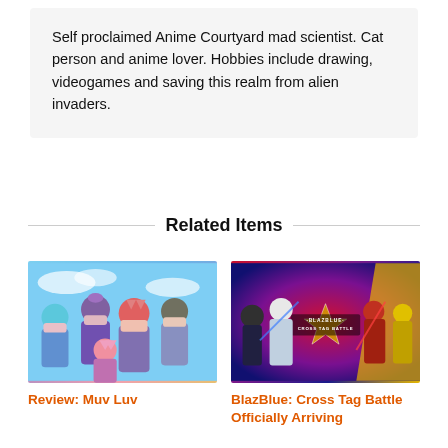Self proclaimed Anime Courtyard mad scientist. Cat person and anime lover. Hobbies include drawing, videogames and saving this realm from alien invaders.
Related Items
[Figure (illustration): Anime group illustration showing multiple female characters in school uniforms with colorful hair against a blue sky background]
Review: Muv Luv
[Figure (illustration): BlazBlue Cross Tag Battle promotional artwork showing multiple fighting game characters on a red and blue background with the game logo]
BlazBlue: Cross Tag Battle Officially Arriving